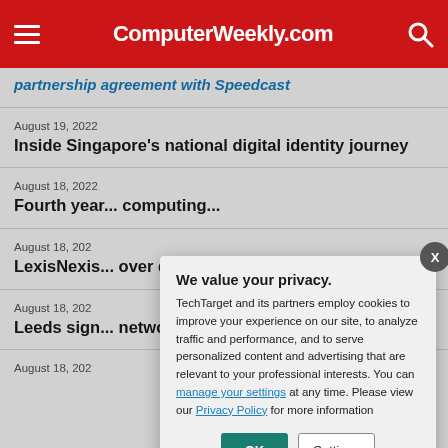ComputerWeekly.com
partnership agreement with Speedcast
August 19, 2022
Inside Singapore's national digital identity journey
August 18, 2022
Fourth year... computing...
August 18, 2022
LexisNexis... over data p...
August 18, 2022
Leeds sign... network cu...
August 18, 2022
We value your privacy. TechTarget and its partners employ cookies to improve your experience on our site, to analyze traffic and performance, and to serve personalized content and advertising that are relevant to your professional interests. You can manage your settings at any time. Please view our Privacy Policy for more information